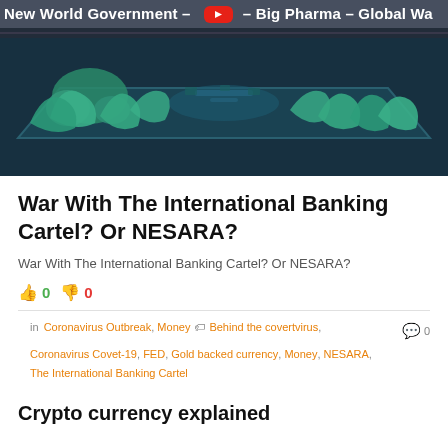New World Government – AI – Big Pharma – Global Wa
[Figure (illustration): Banner illustration showing stylized green and teal figures hunched over a large table, dark background, conspiracy-themed blog header image]
War With The International Banking Cartel? Or NESARA?
War With The International Banking Cartel? Or NESARA?
👍 0  👎 0
in Coronavirus Outbreak, Money  🏷 Behind the covertvirus, Coronavirus Covet-19, FED, Gold backed currency, Money, NESARA, The International Banking Cartel  💬 0
Crypto currency explained